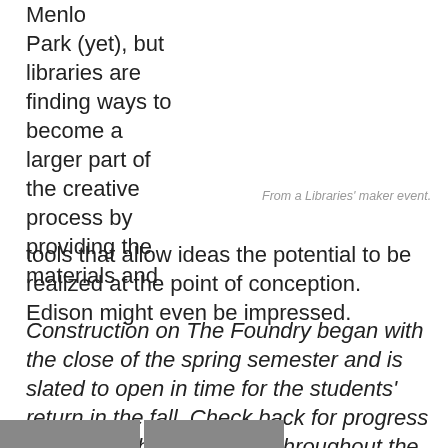Menlo Park (yet), but libraries are finding ways to become a larger part of the creative process by providing the materials and tools that allow ideas the potential to be realized at the point of conception. Edison might even be impressed.
From a Libraries' maker event.
Construction on The Foundry began with the close of the spring semester and is slated to open in time for the students' return in the fall. Check back for progress reports on the renovation throughout the summer.